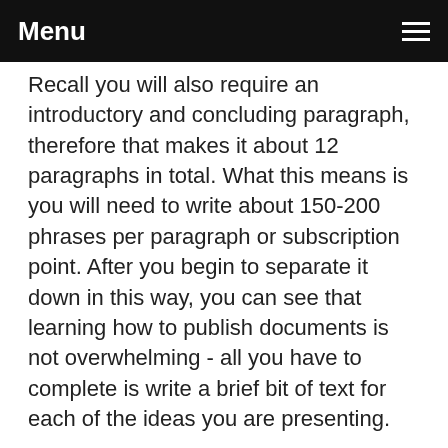Menu
Recall you will also require an introductory and concluding paragraph, therefore that makes it about 12 paragraphs in total. What this means is you will need to write about 150-200 phrases per paragraph or subscription point. After you begin to separate it down in this way, you can see that learning how to publish documents is not overwhelming - all you have to complete is write a brief bit of text for each of the ideas you are presenting.
After you have the structure written down in observe kind, with how many phrases for every paragraph, you can start to work on the facts of one's article content.
Search at everything you have read for each of the details of your composition and work-out tips on how